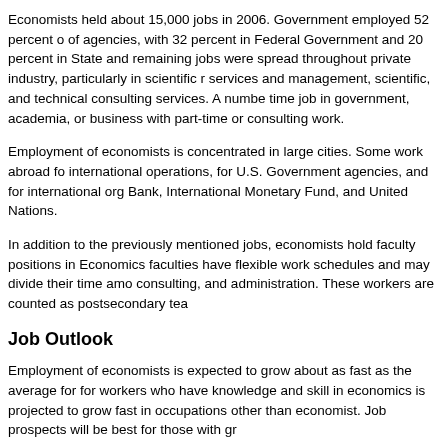Economists held about 15,000 jobs in 2006. Government employed 52 percent of agencies, with 32 percent in Federal Government and 20 percent in State and remaining jobs were spread throughout private industry, particularly in scientific research services and management, scientific, and technical consulting services. A number time job in government, academia, or business with part-time or consulting work.
Employment of economists is concentrated in large cities. Some work abroad for international operations, for U.S. Government agencies, and for international organizations Bank, International Monetary Fund, and United Nations.
In addition to the previously mentioned jobs, economists hold faculty positions in Economics faculties have flexible work schedules and may divide their time among consulting, and administration. These workers are counted as postsecondary teachers.
Job Outlook
Employment of economists is expected to grow about as fast as the average for for workers who have knowledge and skill in economics is projected to grow faster in occupations other than economist. Job prospects will be best for those with graduate degrees.
Employment change.
Employment of economists is expected to grow seven percent from 2006 to 2016 for all occupations. Demand for economic analysis should grow, but the increase jobs will be tempered as firms hire workers for more specialized jobs with special economic backgrounds will work in related occupations with more specific job titles.